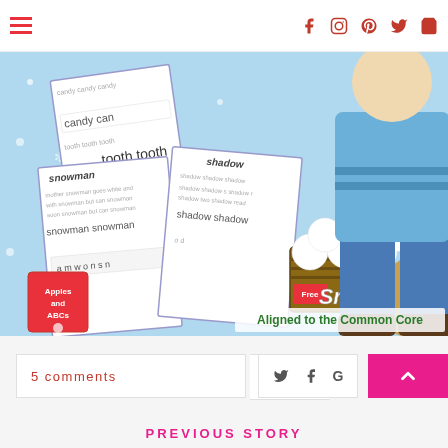Navigation bar with hamburger menu and social icons (Facebook, Instagram, Pinterest, Twitter, Cart)
[Figure (illustration): Educational worksheet illustration showing snowman-themed sight word worksheets fanned out on a light blue snowy background with snowflakes. A cartoon boy in blue jeans and jacket with a brown cartoon dog sit beside a crate of snowballs. Text reads 'Free Snow' on crate and 'Aligned to the Common Core' in bottom right. Worksheets show words: candy, tooth, snowman, shadow, with letter tiles 'amwonsn' visible. Applesandabcs logo in bottom left corner.]
5 comments
PREVIOUS STORY